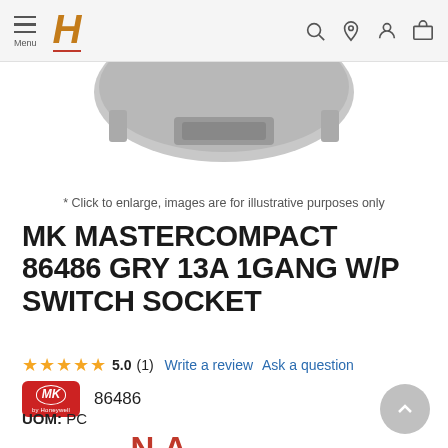Menu | H (logo) | Search | Support | Location | Account | Cart
[Figure (photo): Bottom view of a gray electrical switch socket (MK Mastercompact), showing mounting tabs, cropped from top.]
* Click to enlarge, images are for illustrative purposes only
MK MASTERCOMPACT 86486 GRY 13A 1GANG W/P SWITCH SOCKET
★★★★★ 5.0 (1)   Write a review   Ask a question
MK by Honeywell  86486
UOM: PC
Price w/GST:  N.A.